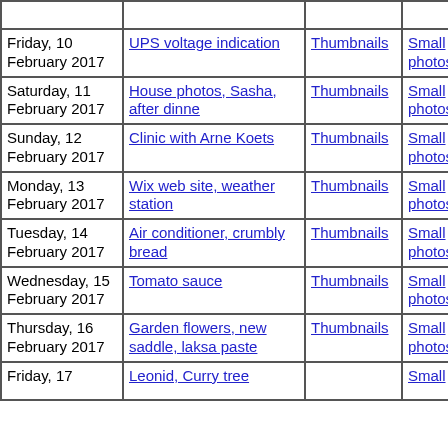| Date | Subject | Thumbnails | Small photos | diary |
| --- | --- | --- | --- | --- |
| Friday, 10 February 2017 | UPS voltage indication | Thumbnails | Small photos | diary |
| Saturday, 11 February 2017 | House photos, Sasha, after dinne | Thumbnails | Small photos | diary |
| Sunday, 12 February 2017 | Clinic with Arne Koets | Thumbnails | Small photos | diary |
| Monday, 13 February 2017 | Wix web site, weather station | Thumbnails | Small photos | diary |
| Tuesday, 14 February 2017 | Air conditioner, crumbly bread | Thumbnails | Small photos | diary |
| Wednesday, 15 February 2017 | Tomato sauce | Thumbnails | Small photos | diary |
| Thursday, 16 February 2017 | Garden flowers, new saddle, laksa paste | Thumbnails | Small photos | diary |
| Friday, 17 | Leonid, Curry tree |  | Small photos |  |